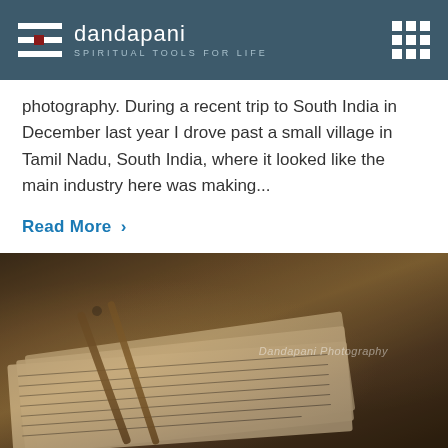dandapani — SPIRITUAL TOOLS FOR LIFE
photography. During a recent trip to South India in December last year I drove past a small village in Tamil Nadu, South India, where it looked like the main industry here was making...
Read More ›
[Figure (photo): Close-up photo of ancient palm leaf manuscripts with handwritten script, with bamboo or reed stylus pens resting on top, on a dark wooden surface. Watermark reads 'Dandapani Photography'.]